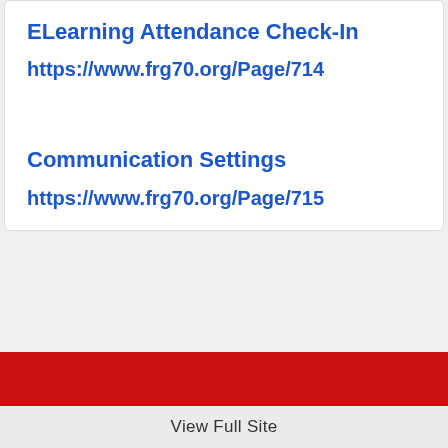ELearning Attendance Check-In
https://www.frg70.org/Page/714
Communication Settings
https://www.frg70.org/Page/715
View Full Site